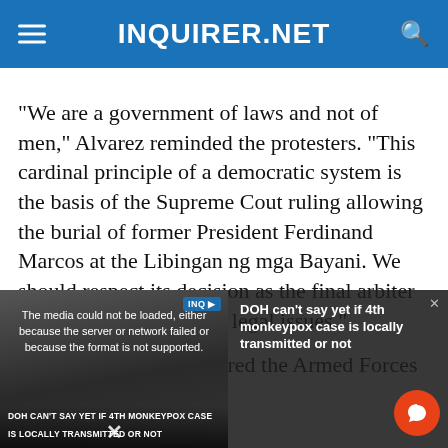INQUIRER.NET
“We are a government of laws and not of men,” Alvarez reminded the protesters. “This cardinal principle of a democratic system is the basis of the Supreme Cout ruling allowing the burial of former President Ferdinand Marcos at the Libingan ng mga Bayani. We should respect its decision as the final arbiter of all constitutional and legal issues.”
Duterte had earlier ordered the Armed Forces of
[Figure (screenshot): Video player overlay showing error message: 'The media could not be loaded, either because the server or network failed or because the format is not supported.' with a thumbnail of a news segment about 'DOH CAN'T SAY YET IF 4TH MONKEYPOX CASE IS LOCALLY TRANSMITTED OR NOT' and a sidebar showing 'DOH can’t say yet if 4th monkeypox case is locally transmitted or not'. An orange chat button appears bottom right. An X close button is at the bottom center.]